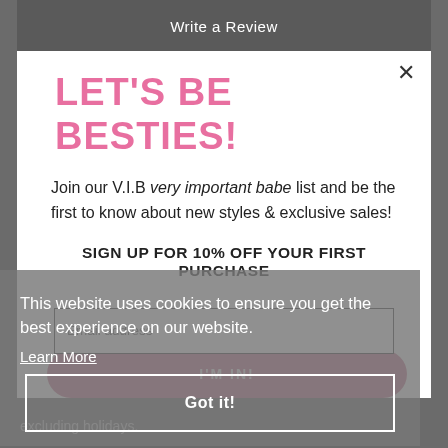Write a Review
LET'S BE BESTIES!
Join our V.I.B very important babe list and be the first to know about new styles & exclusive sales!
SIGN UP FOR 10% OFF YOUR FIRST PURCHASE
Email address
I'M IN!
This website uses cookies to ensure you get the best experience on our website.
Learn More
Got it!
excluding holidays.